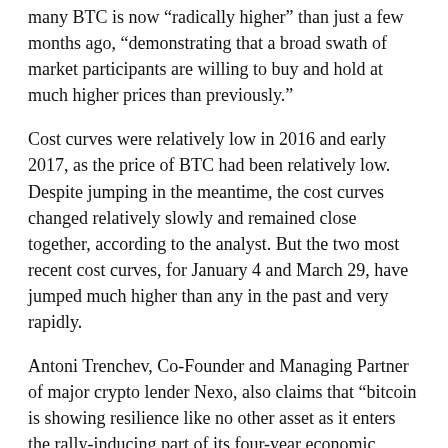many BTC is now “radically higher” than just a few months ago, “demonstrating that a broad swath of market participants are willing to buy and hold at much higher prices than previously.”
Cost curves were relatively low in 2016 and early 2017, as the price of BTC had been relatively low. Despite jumping in the meantime, the cost curves changed relatively slowly and remained close together, according to the analyst. But the two most recent cost curves, for January 4 and March 29, have jumped much higher than any in the past and very rapidly.
Antoni Trenchev, Co-Founder and Managing Partner of major crypto lender Nexo, also claims that “bitcoin is showing resilience like no other asset as it enters the rally-inducing part of its four-year economic cycle.”
“It’s totally uninterested in dollar action, Treasury Yields, tech stocks dropping, gold slipping, you name it. With PayPal allowing 29M merchants to accept crypto and Visa effectively